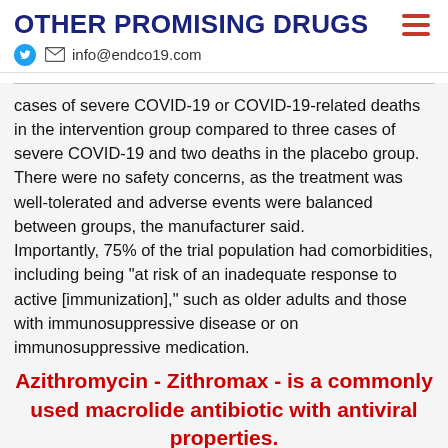OTHER PROMISING DRUGS
info@endco19.com
cases of severe COVID-19 or COVID-19-related deaths in the intervention group compared to three cases of severe COVID-19 and two deaths in the placebo group. There were no safety concerns, as the treatment was well-tolerated and adverse events were balanced between groups, the manufacturer said.
Importantly, 75% of the trial population had comorbidities, including being "at risk of an inadequate response to active [immunization]," such as older adults and those with immunosuppressive disease or on immunosuppressive medication.
Azithromycin - Zithromax - is a commonly used macrolide antibiotic with antiviral properties.